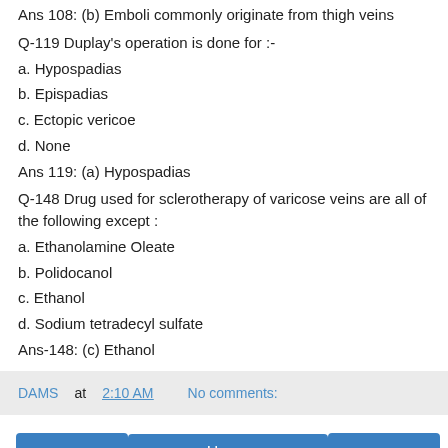Ans 108: (b) Emboli commonly originate from thigh veins
Q-119 Duplay's operation is done for :-
a. Hypospadias
b. Epispadias
c. Ectopic vericoe
d. None
Ans 119: (a) Hypospadias
Q-148 Drug used for sclerotherapy of varicose veins are all of the following except :
a. Ethanolamine Oleate
b. Polidocanol
c. Ethanol
d. Sodium tetradecyl sulfate
Ans-148: (c) Ethanol
DAMS at 2:10 AM   No comments:
Home | View web version